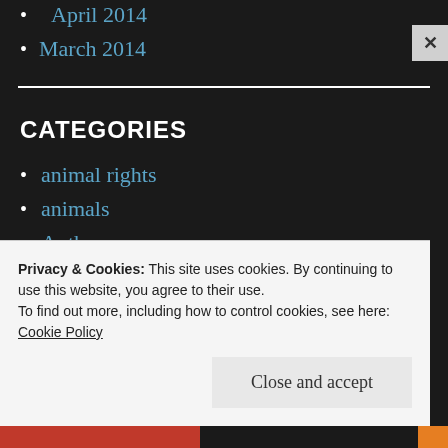April 2014
March 2014
CATEGORIES
animal rights
animals
Author
baseball
Privacy & Cookies: This site uses cookies. By continuing to use this website, you agree to their use.
To find out more, including how to control cookies, see here: Cookie Policy
Close and accept